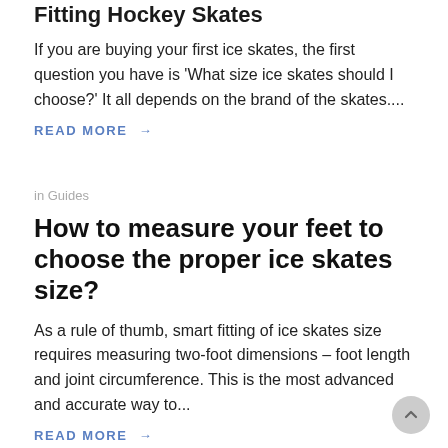Fitting Hockey Skates
If you are buying your first ice skates, the first question you have is ‘What size ice skates should I choose?’ It all depends on the brand of the skates....
READ MORE →
in Guides
How to measure your feet to choose the proper ice skates size?
As a rule of thumb, smart fitting of ice skates size requires measuring two-foot dimensions – foot length and joint circumference. This is the most advanced and accurate way to...
READ MORE →